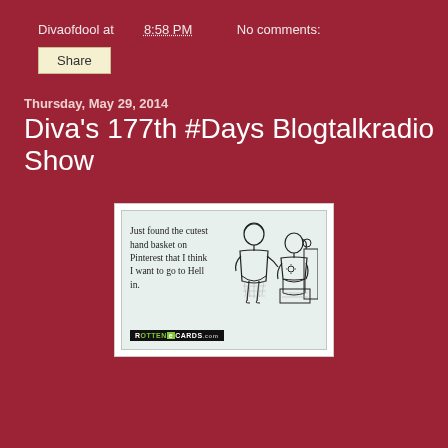Divaofdool at 8:58 PM    No comments:
Share
Thursday, May 29, 2014
Diva's 177th #Days Blogtalkradio Show
[Figure (illustration): A humorous ecard from RottenEcards showing two retro-style women, with text: 'Just found the cutest hand basket on Pinterest that I think I want to go to Hell in.']